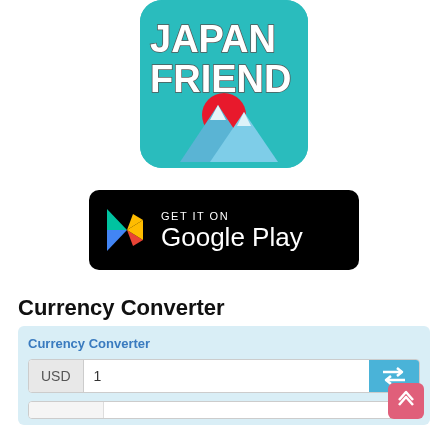[Figure (logo): Japan Friend app icon: teal/turquoise rounded square with white bold text 'JAPAN FRIEND' and a Mount Fuji illustration with red sun]
[Figure (logo): Google Play Store badge: black rounded rectangle with Google Play triangle logo and text 'GET IT ON Google Play']
Currency Converter
[Figure (screenshot): Currency Converter widget with light blue background, showing a USD input field with value '1', a teal swap button with arrows icon, and a second empty input row below. A pink scroll-to-top button is visible at bottom right.]